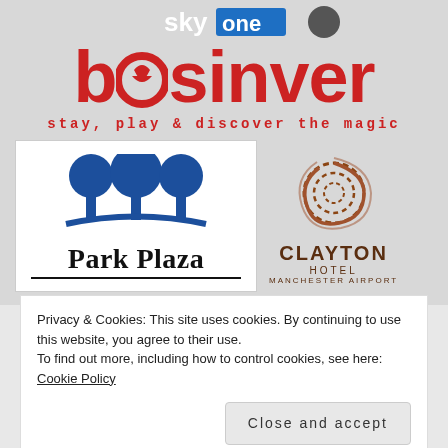[Figure (logo): Sky One logo with blue rectangle and white text at top]
bosinver
stay, play & discover the magic
[Figure (logo): Park Plaza hotel logo with blue tree icons and black wordmark]
[Figure (logo): Clayton Hotel Manchester Airport logo with copper/brown swirl and text]
Privacy & Cookies: This site uses cookies. By continuing to use this website, you agree to their use.
To find out more, including how to control cookies, see here: Cookie Policy
Close and accept